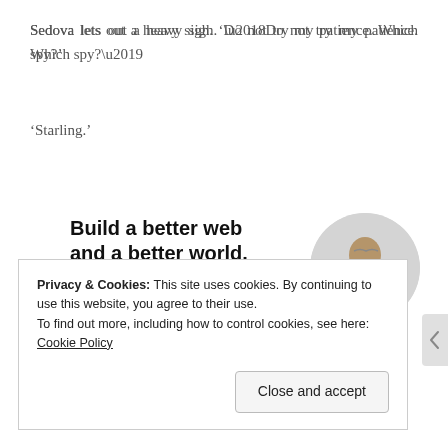Sedova lets out a heavy sigh. ‘Do not try my patience. Which spy?’
‘Starling.’
[Figure (infographic): Advertisement banner: 'Build a better web and a better world.' with an Apply button and a circular photo of a man thinking.]
Privacy & Cookies: This site uses cookies. By continuing to use this website, you agree to their use.
To find out more, including how to control cookies, see here: Cookie Policy
Close and accept